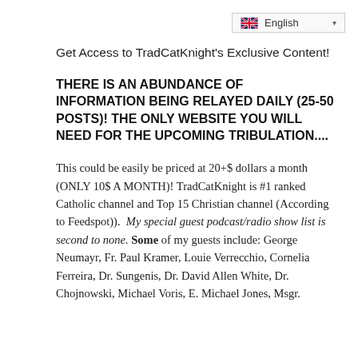[Figure (screenshot): English language selector dropdown widget with UK flag icon in top right corner]
Get Access to TradCatKnight's Exclusive Content!
THERE IS AN ABUNDANCE OF INFORMATION BEING RELAYED DAILY (25-50 POSTS)! THE ONLY WEBSITE YOU WILL NEED FOR THE UPCOMING TRIBULATION....
This could be easily be priced at 20+$ dollars a month (ONLY 10$ A MONTH)! TradCatKnight is #1 ranked Catholic channel and Top 15 Christian channel (According to Feedspot)).  My special guest podcast/radio show list is second to none. Some of my guests include: George Neumayr, Fr. Paul Kramer, Louie Verrecchio, Cornelia Ferreira, Dr. Sungenis, Dr. David Allen White, Dr. Chojnowski, Michael Voris, E. Michael Jones, Msgr.